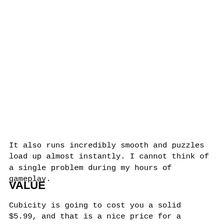It also runs incredibly smooth and puzzles load up almost instantly. I cannot think of a single problem during my hours of gameplay.
VALUE
Cubicity is going to cost you a solid $5.99, and that is a nice price for a